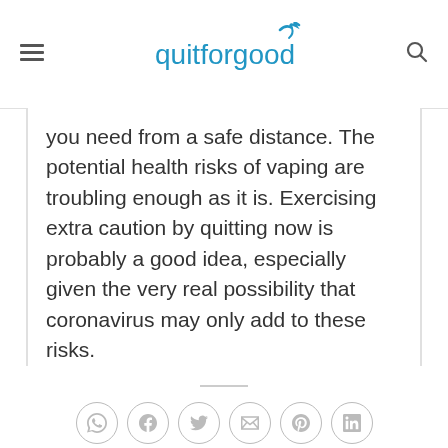quitforgood
you need from a safe distance. The potential health risks of vaping are troubling enough as it is. Exercising extra caution by quitting now is probably a good idea, especially given the very real possibility that coronavirus may only add to these risks.
[Figure (other): Social sharing icons row: WhatsApp, Facebook, Twitter, Email, Pinterest, LinkedIn — circular outlined buttons in grey]
This entry was posted in Studies and tagged from the web.
Is There Actually a Link Between Vaping and
Letter to FDA on Guidelines on Regulation of Vapor